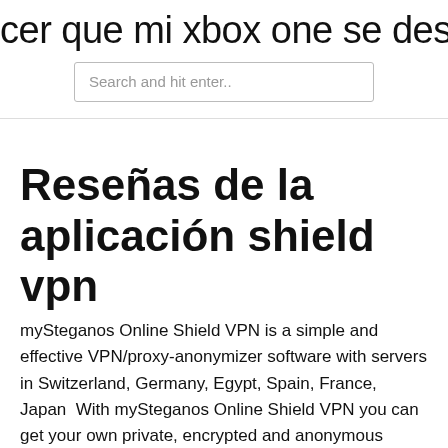cer que mi xbox one se descargue m
Search and hit enter..
Reseñas de la aplicación shield vpn
mySteganos Online Shield VPN is a simple and effective VPN/proxy-anonymizer software with servers in Switzerland, Germany, Egypt, Spain, France, Japan  With mySteganos Online Shield VPN you can get your own private, encrypted and anonymous connection What is VPN (Virtual Private Network): VPN Proxy permits your android telephone to shroud IP change IP and unblock any site or  Shield VPN - Open Access & Unlimited Free VPN. ⭐ High-Speed Servers Connect to state-of-the-art servers engineered for an Hotspot Shield VPN from Anchor is the world's most trusted internet